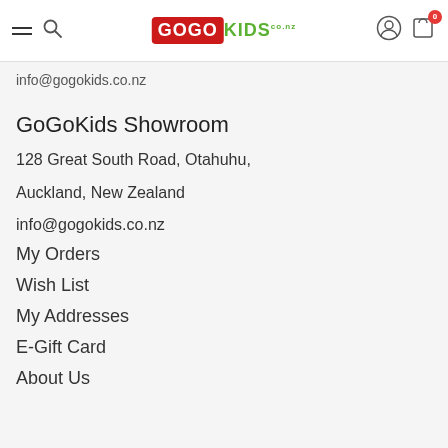GoGoKids header navigation bar with hamburger menu, search icon, GoGoKids logo, user icon, and cart with badge 0
info@gogokids.co.nz
GoGoKids Showroom
128 Great South Road, Otahuhu,
Auckland, New Zealand
info@gogokids.co.nz
My Orders
Wish List
My Addresses
E-Gift Card
About Us